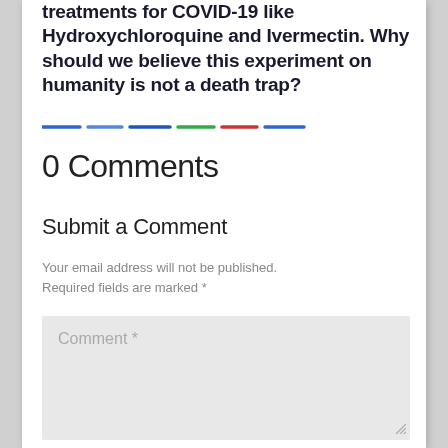treatments for COVID-19 like Hydroxychloroquine and Ivermectin. Why should we believe this experiment on humanity is not a death trap?
[Figure (other): Colorful dashed horizontal divider line made of multiple colored dashes: blue, blue, blue, green, red, blue]
0 Comments
Submit a Comment
Your email address will not be published. Required fields are marked *
[Figure (screenshot): Comment text input area placeholder showing 'Comment *' with resize handle]